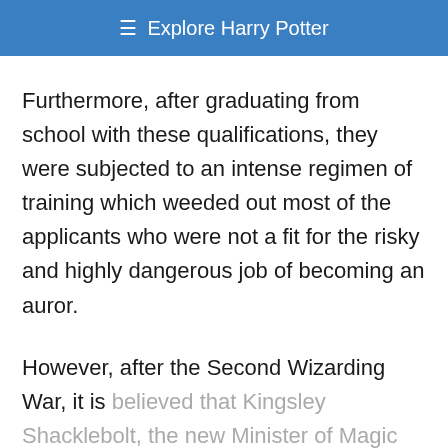≡ Explore Harry Potter
Furthermore, after graduating from school with these qualifications, they were subjected to an intense regimen of training which weeded out most of the applicants who were not a fit for the risky and highly dangerous job of becoming an auror.
However, after the Second Wizarding War, it is believed that Kingsley Shacklebolt, the new Minister of Magic granted the opportunity in